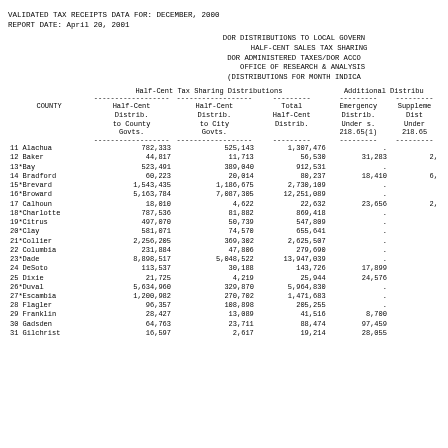VALIDATED TAX RECEIPTS DATA FOR: DECEMBER,  2000
REPORT DATE: April 20, 2001
DOR DISTRIBUTIONS TO LOCAL GOVERN
        HALF-CENT SALES TAX SHARING
DOR ADMINISTERED TAXES/DOR ACCO
    OFFICE OF RESEARCH & ANALYSIS
(DISTRIBUTIONS FOR MONTH INDICA
| COUNTY | Half-Cent Distrib. to County Govts. | Half-Cent Distrib. to City Govts. | Total Half-Cent Distrib. | Emergency Distrib. Under s. 218.65(1) | Supplemental Distrib. Under 218.65 |
| --- | --- | --- | --- | --- | --- |
| 11 Alachua | 782,333 | 525,143 | 1,307,476 | . | . |
| 12 Baker | 44,817 | 11,713 | 56,530 | 31,283 | 2, |
| 13*Bay | 523,491 | 389,040 | 912,531 | . | . |
| 14 Bradford | 60,223 | 20,014 | 80,237 | 18,410 | 6, |
| 15*Brevard | 1,543,435 | 1,186,675 | 2,730,109 | . | . |
| 16*Broward | 5,163,784 | 7,087,305 | 12,251,089 | . | . |
| 17 Calhoun | 18,010 | 4,622 | 22,632 | 23,656 | 2, |
| 18*Charlotte | 787,536 | 81,882 | 869,418 | . | . |
| 19*Citrus | 497,070 | 50,739 | 547,809 | . | . |
| 20*Clay | 581,071 | 74,570 | 655,641 | . | . |
| 21*Collier | 2,256,205 | 369,302 | 2,625,507 | . | . |
| 22 Columbia | 231,884 | 47,806 | 279,690 | . | . |
| 23*Dade | 8,898,517 | 5,048,522 | 13,947,039 | . | . |
| 24 DeSoto | 113,537 | 30,188 | 143,726 | 17,899 |  |
| 25 Dixie | 21,725 | 4,219 | 25,944 | 24,576 |  |
| 26*Duval | 5,634,960 | 329,870 | 5,964,830 | . | . |
| 27*Escambia | 1,200,982 | 270,702 | 1,471,683 | . | . |
| 28 Flagler | 96,357 | 108,898 | 205,255 | . | . |
| 29 Franklin | 28,427 | 13,089 | 41,516 | 8,700 |  |
| 30 Gadsden | 64,763 | 23,711 | 88,474 | 97,459 |  |
| 31 Gilchrist | 16,597 | 2,617 | 19,214 | 28,055 |  |